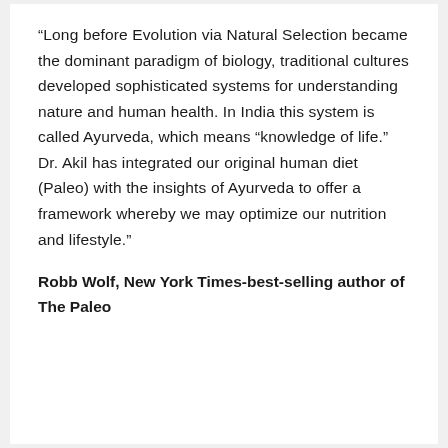“Long before Evolution via Natural Selection became the dominant paradigm of biology, traditional cultures developed sophisticated systems for understanding nature and human health. In India this system is called Ayurveda, which means “knowledge of life.” Dr. Akil has integrated our original human diet (Paleo) with the insights of Ayurveda to offer a framework whereby we may optimize our nutrition and lifestyle.”
Robb Wolf, New York Times-best-selling author of The Paleo